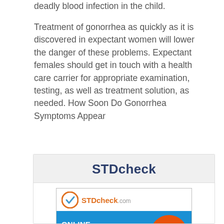deadly blood infection in the child.
Treatment of gonorrhea as quickly as it is discovered in expectant women will lower the danger of these problems. Expectant females should get in touch with a health care carrier for appropriate examination, testing, as well as treatment solution, as needed. How Soon Do Gonorrhea Symptoms Appear
[Figure (infographic): STDcheck advertisement box with header 'STDcheck' on grey background and an ad image showing STDcheck.com logo, 'ONLINE STD TESTING SERVICES' text on blue background, '100% CONFIDENTIAL Fast and Reliable' orange circle badge, and 'NO Medical Record' text with checkmark.]